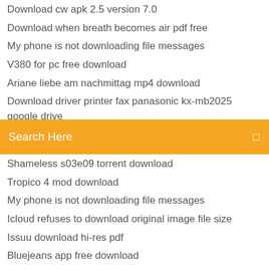Download cw apk 2.5 version 7.0
Download when breath becomes air pdf free
My phone is not downloading file messages
V380 for pc free download
Ariane liebe am nachmittag mp4 download
Download driver printer fax panasonic kx-mb2025 google drive
Search Here
Shameless s03e09 torrent download
Tropico 4 mod download
My phone is not downloading file messages
Icloud refuses to download original image file size
Issuu download hi-res pdf
Bluejeans app free download
Download lastet version of powerpoint
Melty blood act cadenza pc download
Download jupyter notebook app for mac
Ply gem logo download